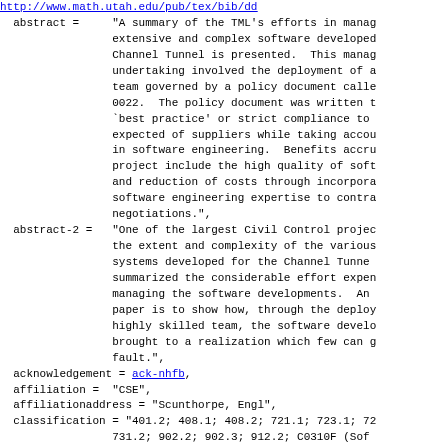http://www.math.utah.edu/pub/tex/bib/... (link, truncated)
abstract =     "A summary of the TML's efforts in managing extensive and complex software developed for the Channel Tunnel is presented. This management undertaking involved the deployment of a team governed by a policy document called 0022. The policy document was written to `best practice' or strict compliance to expected of suppliers while taking account in software engineering. Benefits accruing project include the high quality of software and reduction of costs through incorporation software engineering expertise to contract negotiations.",
abstract-2 =   "One of the largest Civil Civil Control projects the extent and complexity of the various systems developed for the Channel Tunnel summarized the considerable effort expended managing the software developments. An objective paper is to show how, through the deployment highly skilled team, the software developments brought to a realization which few can fault.",
acknowledgement = ack-nhfb,
affiliation =  "CSE",
affiliationaddress = "Scunthorpe, Engl",
classification = "401.2; 408.1; 408.2; 721.1; 723.1; 72...
               731.2; 902.2; 902.3; 912.2; C0310F (Soft...
               development management); C6110B (Software...
               techniques); C7490 (Other engineering f...
conferenceyear = "1994"